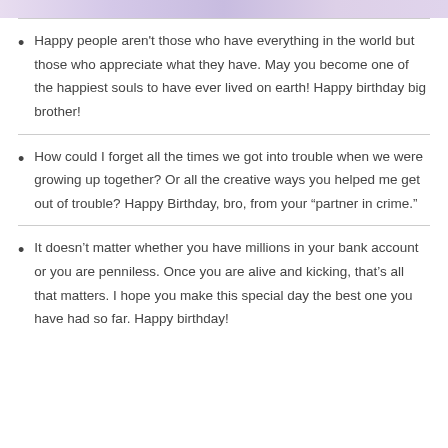[Figure (photo): Partial image at top of page showing flowers or decorative elements in purple/lavender tones]
Happy people aren't those who have everything in the world but those who appreciate what they have. May you become one of the happiest souls to have ever lived on earth! Happy birthday big brother!
How could I forget all the times we got into trouble when we were growing up together? Or all the creative ways you helped me get out of trouble? Happy Birthday, bro, from your “partner in crime.”
It doesn’t matter whether you have millions in your bank account or you are penniless. Once you are alive and kicking, that’s all that matters. I hope you make this special day the best one you have had so far. Happy birthday!